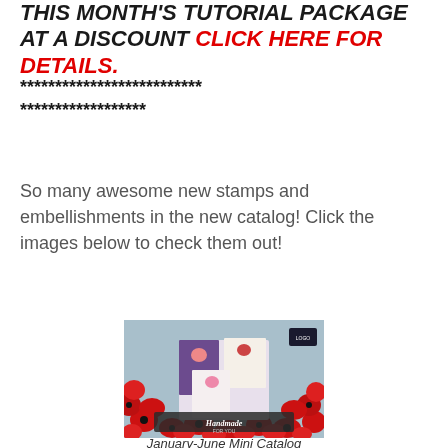THIS MONTH'S TUTORIAL PACKAGE AT A DISCOUNT CLICK HERE FOR DETAILS.
************************** ******************
So many awesome new stamps and embellishments in the new catalog! Click the images below to check them out!
[Figure (photo): Catalog cover showing handmade cards with red poppy flowers and crafting products, labeled 'Handmade For You']
January-June Mini Catalog